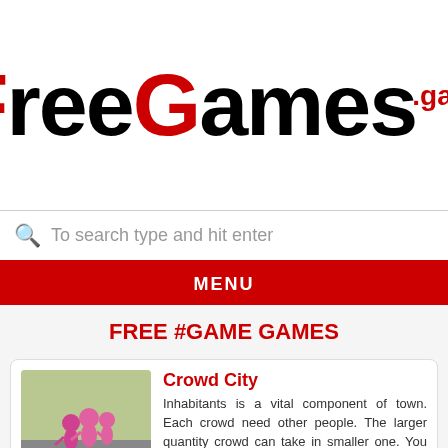[Figure (logo): FreeGames.game logo — large bold text with F and G in red, rest in black, with .game in red superscript]
To search type and hit enter
MENU
FREE #GAME GAMES
Crowd City
[Figure (screenshot): Crowd City game thumbnail showing pink cartoon crowd figures on a grey/green surface]
Inhabitants is a vital component of town. Each crowd need other people. The larger quantity crowd can take in smaller one. You want to stay operating, to find other people, then invite them sign up for in. You might be racing with different gamers. Steer clear of the massive crowd, to consume small [...]
Bullet Rush
[Figure (screenshot): Bullet Rush game thumbnail showing green foliage background]
You might be despatched to a perilous